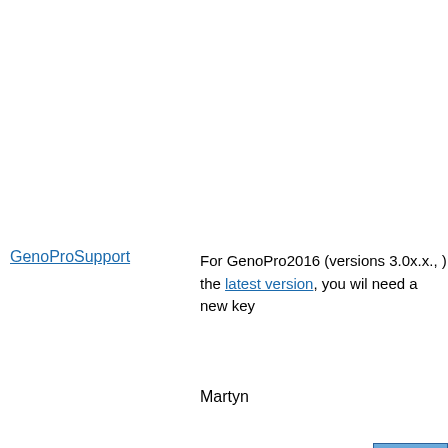For GenoPro2016 (versions 3.0x.x., ) the latest version, you wil need a new key
Martyn
Posted Sunday, November 8, 2015 - Post #36140
GenoProSupport
[Figure (logo): GenoPro genealogy software logo with male/female symbols and family tree]
Legendary Master
Administrators
Moderators
Customers
Gamma
FamilyTrees.GenoPro.com
Translator
GenoPro version: 3.1.0.1
Last Login: Yesterday @
According to our records, no request your account/email reached our serve possible you have a firewall or antivi preventing the GenoPro application to communicate with the website GenoP